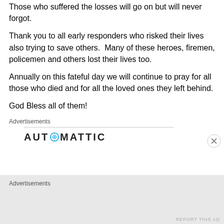Those who suffered the losses will go on but will never forgot.
Thank you to all early responders who risked their lives also trying to save others.  Many of these heroes, firemen, policemen and others lost their lives too.
Annually on this fateful day we will continue to pray for all those who died and for all the loved ones they left behind.
God Bless all of them!
Advertisements
[Figure (logo): Automattic logo with circular target icon replacing the O]
Advertisements